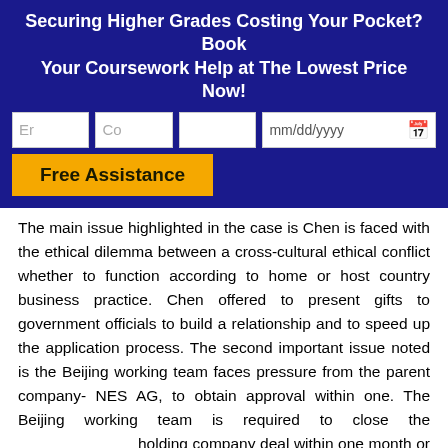Securing Higher Grades Costing Your Pocket? Book Your Coursework Help at The Lowest Price Now!
[Figure (screenshot): Web form with input fields for email, country, blank field, and date picker, plus a Free Assistance button]
The main issue highlighted in the case is Chen is faced with the ethical dilemma between a cross-cultural ethical conflict whether to function according to home or host country business practice. Chen offered to present gifts to government officials to build a relationship and to speed up the application process. The second important issue noted is the Beijing working team faces pressure from the parent company- NES AG, to obtain approval within one. The Beijing working team is required to close the holding company deal within one month or risk having G abandon the project. The third problem is NES AG's reputational damage and loss of probable future sales would be ke if they agreed to engage in bribery with China ment officials.
The first suggested alternative and recommendation to remedy